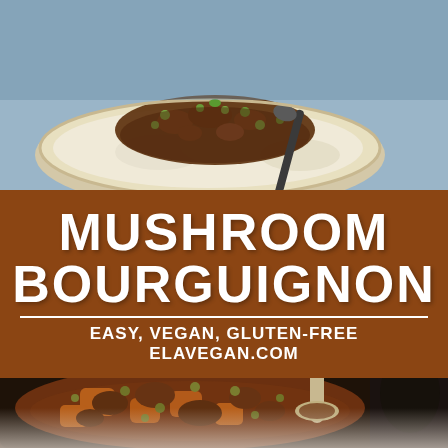[Figure (photo): Top photo: a bowl of mashed potato/cauliflower topped with mushroom bourguignon stew containing mushrooms, peas, and dark gravy, with a dark spoon resting in the bowl, on a blue-grey background.]
MUSHROOM BOURGUIGNON
EASY, VEGAN, GLUTEN-FREE
ELAVEGAN.COM
[Figure (photo): Bottom photo: a dark skillet/pan filled with mushroom bourguignon stew showing chunky carrots, mushrooms, peas in a rich brown sauce, with a large spoon resting inside the pan.]